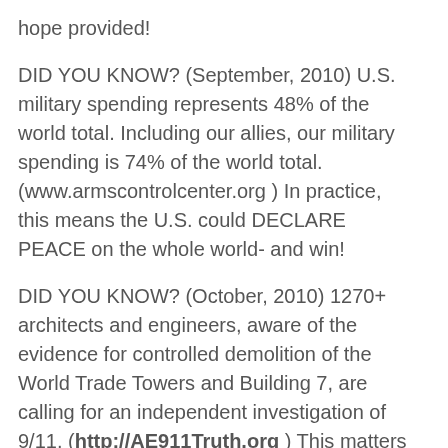hope provided!
DID YOU KNOW? (September, 2010) U.S. military spending represents 48% of the world total. Including our allies, our military spending is 74% of the world total. (www.armscontrolcenter.org ) In practice, this means the U.S. could DECLARE PEACE on the whole world- and win!
DID YOU KNOW? (October, 2010) 1270+ architects and engineers, aware of the evidence for controlled demolition of the World Trade Towers and Building 7, are calling for an independent investigation of 9/11. (http://AE911Truth.org ) This matters because the wars on Iraq and Afghanistan, the Patriot Act, and the whole 3Global War on Terror2 rest on the 319 hijackers2 story.
DID YOU KNOW? (November, 2010) Henry Kissinger, Sam Nunn, William Perry and George Shultz, all architects of